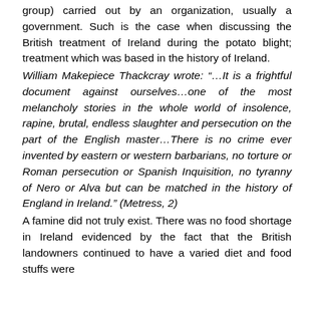group) carried out by an organization, usually a government. Such is the case when discussing the British treatment of Ireland during the potato blight; treatment which was based in the history of Ireland.
William Makepiece Thackcray wrote: “…It is a frightful document against ourselves…one of the most melancholy stories in the whole world of insolence, rapine, brutal, endless slaughter and persecution on the part of the English master…There is no crime ever invented by eastern or western barbarians, no torture or Roman persecution or Spanish Inquisition, no tyranny of Nero or Alva but can be matched in the history of England in Ireland.” (Metress, 2)
A famine did not truly exist. There was no food shortage in Ireland evidenced by the fact that the British landowners continued to have a varied diet and food stuffs were